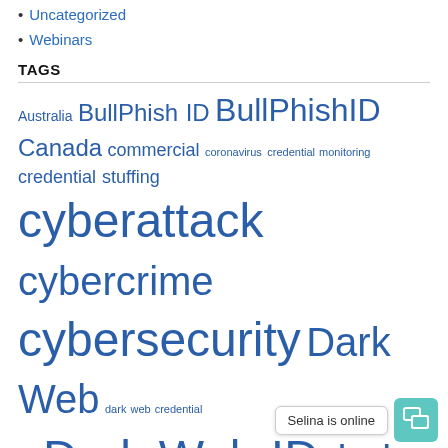Uncategorized
Webinars
TAGS
Australia BullPhish ID BullPhishID Canada commercial coronavirus credential monitoring credential stuffing cyberattack cybercrime cybersecurity Dark Web dark web credential loss Dark Web ID dark web monitoring dark web threat Data Breach Data Breach Alerts data compromised data loss prevention data theft hacking healthcare insider threats MSPs MSP Space nation-state hackers Passly
Selina is online